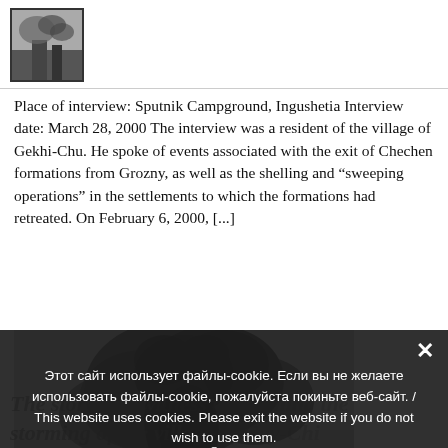[Figure (logo): Small square logo with dark image, possibly a website/organization logo with a dark landscape or photo]
Place of interview: Sputnik Campground, Ingushetia Interview date: March 28, 2000 The interview was a resident of the village of Gekhi-Chu. He spoke of events associated with the exit of Chechen formations from Grozny, as well as the shelling and “sweeping operations” in the settlements to which the formations had retreated. On February 6, 2000, [...]
[Figure (photo): Black and white photograph showing large dark smoke clouds rising over buildings, likely depicting a scene from Grozny or a Chechen village during conflict]
Этот сайт использует файлы-cookie. Если вы не желаете использовать файлы-cookie, пожалуйста покиньте веб-сайт. / This website uses cookies. Please exit the website if you do not wish to use them.
The story of a witness concerning the storming of the village of Gay-Chi (Komsomolskoe) and the possible deaths...